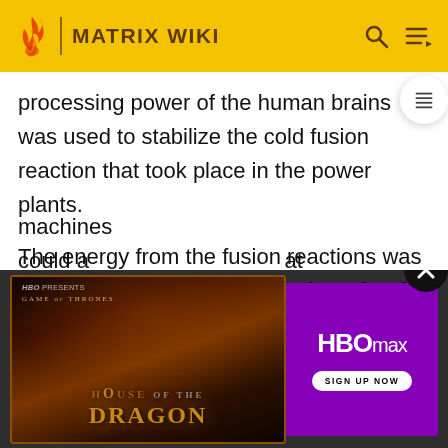MATRIX WIKI
processing power of the human brains was used to stabilize the cold fusion reaction that took place in the power plants.
The energy from the fusion reactions was combined with recycled organic molecular structures, recharging them in a photosynthesis-like fashion and turning to chemical energy, consumed by the human body and moderately released in the form of heat and electricity that the human body generated naturally, thus producing a temper...machines could a...at quantiti...ed their sy...l like the human body. So using human hosts as batteries...
[Figure (screenshot): Advertisement banner for HBO Max showing Game of Thrones: House of the Dragon with HBO Max Sign Up Now button]